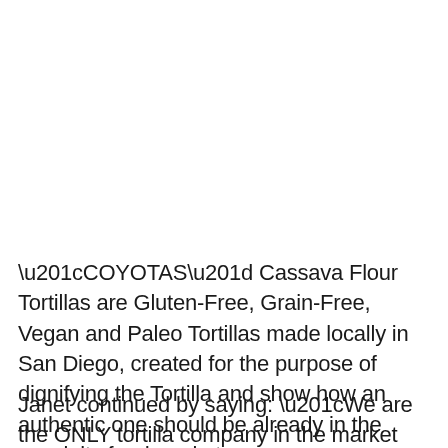“COYOTAS” Cassava Flour Tortillas are Gluten-Free, Grain-Free, Vegan and Paleo Tortillas made locally in San Diego, created for the purpose of dignifying the Tortilla and show how an authentic one should be already in the specialty food market.
Janet continued by saying: “We are the ONLY tortilla company in the market that offers a clean label 4 ingredients tortilla, authentic